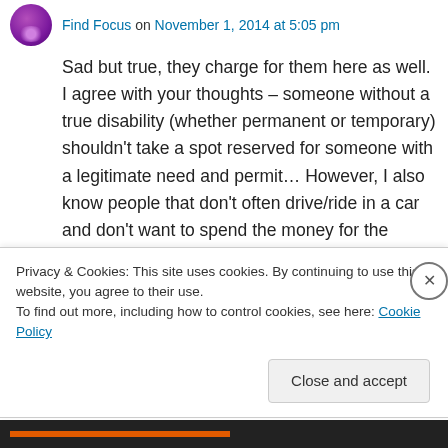Find Focus on November 1, 2014 at 5:05 pm
Sad but true, they charge for them here as well. I agree with your thoughts – someone without a true disability (whether permanent or temporary) shouldn't take a spot reserved for someone with a legitimate need and permit… However, I also know people that don't often drive/ride in a car and don't want to spend the money for the doctor's visit for paperwork and the additional fee for the placard. 😐
Privacy & Cookies: This site uses cookies. By continuing to use this website, you agree to their use. To find out more, including how to control cookies, see here: Cookie Policy
Close and accept